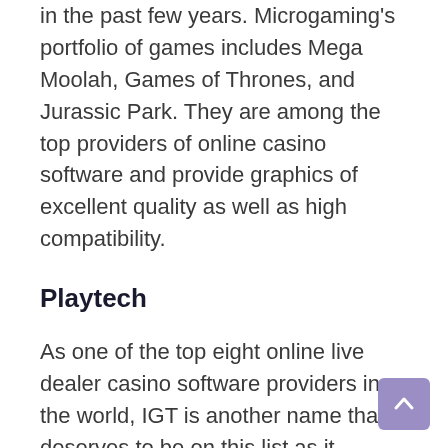in the past few years. Microgaming's portfolio of games includes Mega Moolah, Games of Thrones, and Jurassic Park. They are among the top providers of online casino software and provide graphics of excellent quality as well as high compatibility.
Playtech
As one of the top eight online live dealer casino software providers in the world, IGT is another name that deserves to be on this list as it produces up to 600 amazing casino games for mobile gaming platforms, live dealers for casinos, and